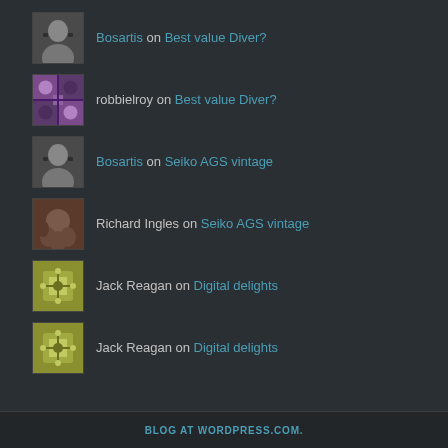Bosartis on Best value Diver?
robbielroy on Best value Diver?
Bosartis on Seiko AGS vintage
Richard Ingles on Seiko AGS vintage
Jack Reagan on Digital delights
Jack Reagan on Digital delights
BLOG AT WORDPRESS.COM.